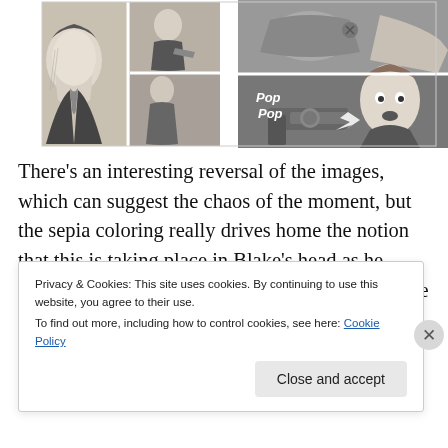[Figure (illustration): Two comic book panels side by side on the left showing men in suits in a chaotic struggle scene, black and white with hatching. On the right, two stacked comic panels: top showing a close-up of hands/figures, bottom showing a woman firing a gun with 'POP POP' sound effects.]
There's an interesting reversal of the images, which can suggest the chaos of the moment, but the sepia coloring really drives home the notion that this is taking place in Blake's head as he remembers and re-remembers the incident. It's the biggest trauma we see Blake experience,
Privacy & Cookies: This site uses cookies. By continuing to use this website, you agree to their use.
To find out more, including how to control cookies, see here: Cookie Policy
Close and accept